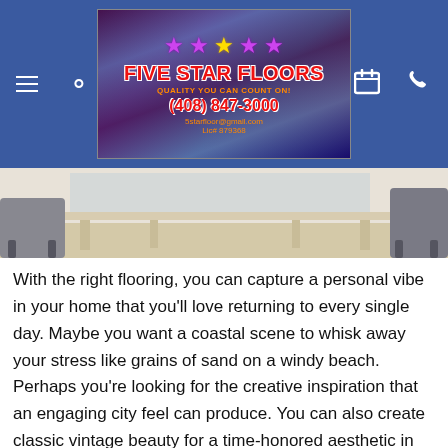Five Star Floors – Quality You Can Count On! (408) 847-3000
[Figure (photo): Interior room photo showing a wooden bench/table with light wood tones, dark chairs, and light-colored flooring]
With the right flooring, you can capture a personal vibe in your home that you'll love returning to every single day. Maybe you want a coastal scene to whisk away your stress like grains of sand on a windy beach. Perhaps you're looking for the creative inspiration that an engaging city feel can produce. You can also create classic vintage beauty for a time-honored aesthetic in an ever-changing world. No matter